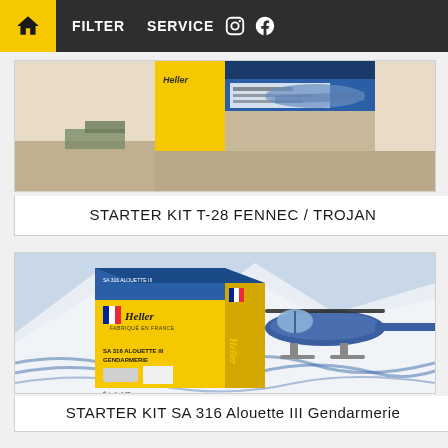FILTER   SERVICE
[Figure (photo): Heller model kit box for Starter Kit T-28 Fennec/Trojan aircraft, partially visible at top]
STARTER KIT T-28 FENNEC / TROJAN
[Figure (photo): Heller model kit box for Starter Kit SA 316 Alouette III Gendarmerie helicopter, yellow and blue box with helicopter illustration on snowy mountain background]
STARTER KIT SA 316 Alouette III Gendarmerie